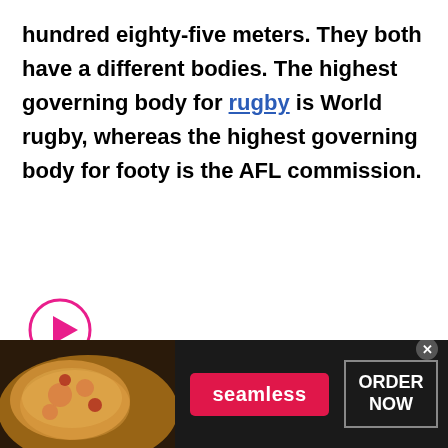hundred eighty-five meters. They both have a different bodies. The highest governing body for rugby is World rugby, whereas the highest governing body for footy is the AFL commission.
[Figure (other): Pink circular play button icon]
[Figure (other): Seamless food delivery advertisement banner with pizza image, seamless red button, and ORDER NOW button]